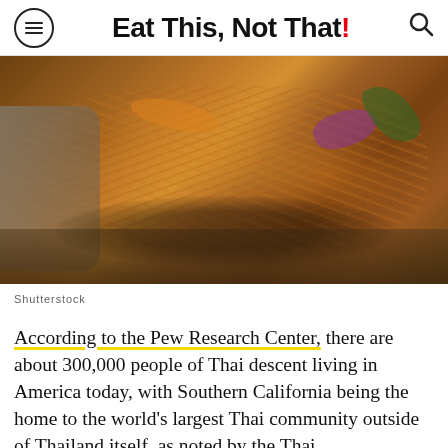Eat This, Not That!
[Figure (photo): Close-up photo of a Thai pad thai or noodle dish with colorful vegetables including purple cabbage and orange carrots on a dark plate, with a gray napkin and wooden table in background]
Shutterstock
According to the Pew Research Center, there are about 300,000 people of Thai descent living in America today, with Southern California being the home to the world's largest Thai community outside of Thailand itself, as noted by the Thai Community Development Center. Along with